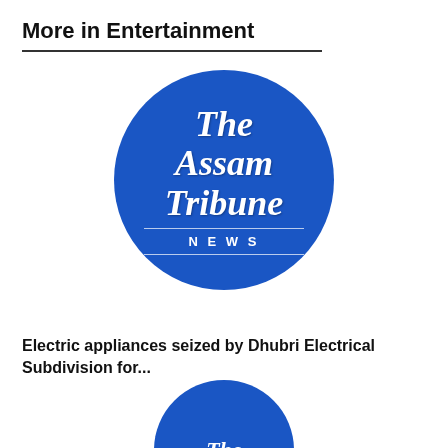More in Entertainment
[Figure (logo): The Assam Tribune NEWS circular logo — blue circle with white old-English text 'The Assam Tribune' and 'NEWS' in spaced caps]
Electric appliances seized by Dhubri Electrical Subdivision for...
[Figure (logo): Partial The Assam Tribune circular logo (cropped at bottom of page) — blue circle with white old-English text 'The']